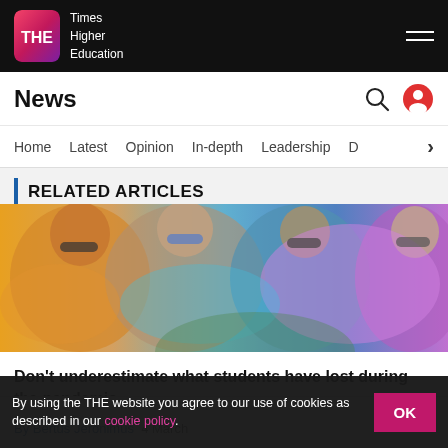[Figure (logo): Times Higher Education logo with pink/magenta gradient box containing THE text and white text reading Times Higher Education]
News
RELATED ARTICLES
[Figure (photo): Young people covered in colorful powder (Holi festival style), wearing sunglasses, celebrating outdoors]
Don't underestimate what students have lost during the pandemic
By Bertus Jeronimus  4 March
By using the THE website you agree to our use of cookies as described in our cookie policy.